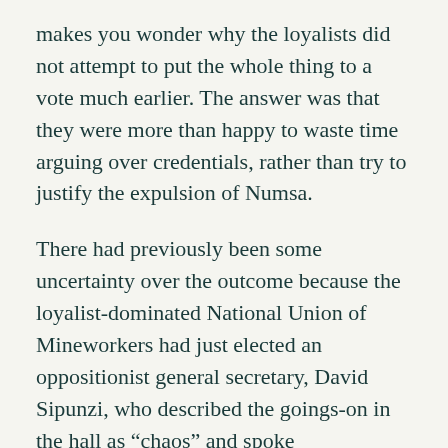makes you wonder why the loyalists did not attempt to put the whole thing to a vote much earlier. The answer was that they were more than happy to waste time arguing over credentials, rather than try to justify the expulsion of Numsa.
There had previously been some uncertainty over the outcome because the loyalist-dominated National Union of Mineworkers had just elected an oppositionist general secretary, David Sipunzi, who described the goings-on in the hall as “chaos” and spoke disparagingly to journalists about the blinkered views of the Cosatu majority. But Sipunzi is very much in a minority on the NUM leadership and I assume that he was overruled by the miners’